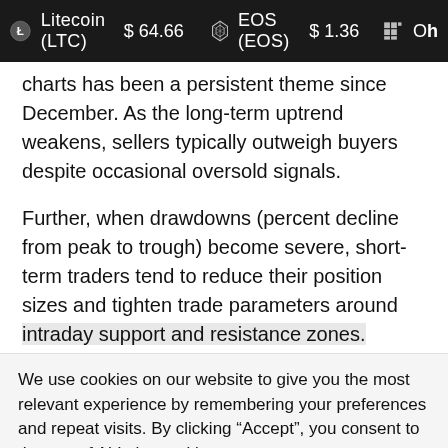Litecoin (LTC) $64.66   EOS (EOS) $1.36
charts has been a persistent theme since December. As the long-term uptrend weakens, sellers typically outweigh buyers despite occasional oversold signals.
Further, when drawdowns (percent decline from peak to trough) become severe, short-term traders tend to reduce their position sizes and tighten trade parameters around intraday support and resistance zones.
We use cookies on our website to give you the most relevant experience by remembering your preferences and repeat visits. By clicking “Accept”, you consent to the use of ALL the cookies.
Do not sell my personal information.
Cookie settings   ACCEPT